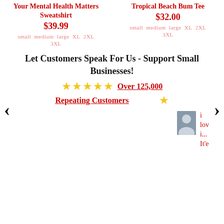Your Mental Health Matters Sweatshirt
$39.99
small medium large XL 2XL 3XL
Tropical Beach Bum Tee
$32.00
small medium large XL 2XL 3XL
Let Customers Speak For Us - Support Small Businesses!
Over 125,000 Repeating Customers
i lov i... It'e